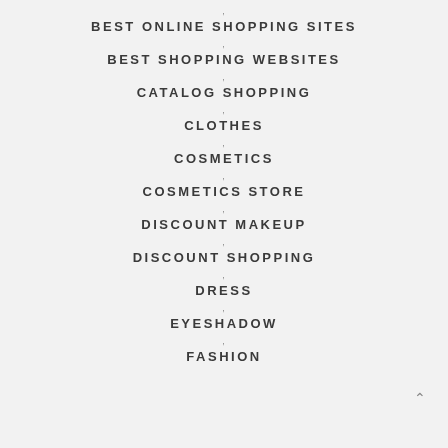BEST ONLINE SHOPPING SITES
BEST SHOPPING WEBSITES
CATALOG SHOPPING
CLOTHES
COSMETICS
COSMETICS STORE
DISCOUNT MAKEUP
DISCOUNT SHOPPING
DRESS
EYESHADOW
FASHION